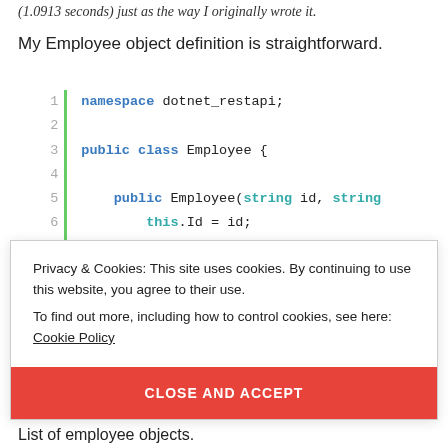(1.0913 seconds) just as the way I originally wrote it.
My Employee object definition is straightforward.
[Figure (screenshot): Code block showing C# namespace and class definition for Employee object with line numbers 1-10 and a green gutter line. Lines show: 1: namespace dotnet_restapi; 2: (blank) 3: public class Employee { 4: (blank) 5: public Employee(string id, string 6: this.Id = id; 7: this.FullName = fullname; 8: this.Location = location; 9: this.JobTitle = jobtitle; 10: }]
Privacy & Cookies: This site uses cookies. By continuing to use this website, you agree to their use.
To find out more, including how to control cookies, see here: Cookie Policy
CLOSE AND ACCEPT
List of employee objects.